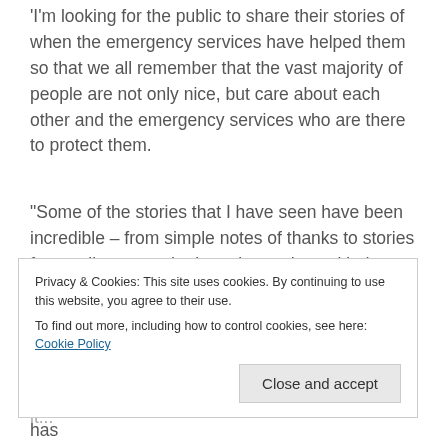'I'm looking for the public to share their stories of when the emergency services have helped them so that we all remember that the vast majority of people are not only nice, but care about each other and the emergency services who are there to protect them.
"Some of the stories that I have seen have been incredible – from simple notes of thanks to stories from colleagues who have been shown kindness.
"Wouldn't it be great if we got more people to share their stories, from members in this force or its ...
Privacy & Cookies: This site uses cookies. By continuing to use this website, you agree to their use. To find out more, including how to control cookies, see here: Cookie Policy
Since Rob launched the campaign on Monday it has